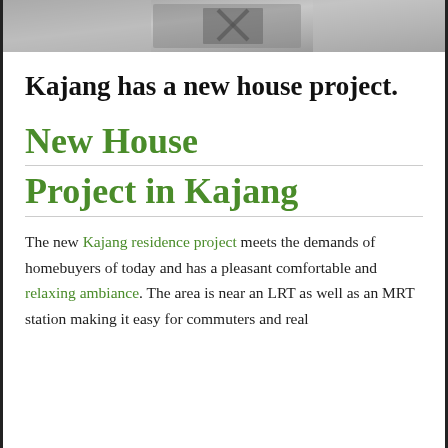[Figure (photo): Partial photo of an interior/home scene, cropped at top of page]
Kajang has a new house project.
New House Project in Kajang
The new Kajang residence project meets the demands of homebuyers of today and has a pleasant comfortable and relaxing ambiance. The area is near an LRT as well as an MRT station making it easy for commuters and real